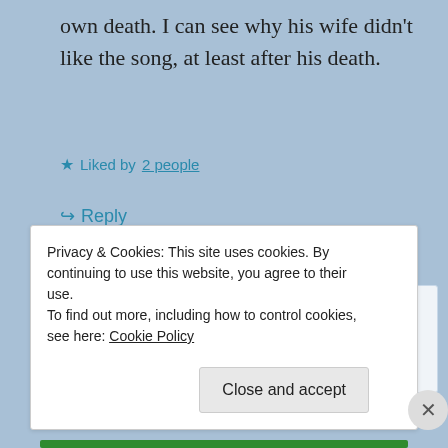own death. I can see why his wife didn't like the song, at least after his death.
★ Liked by 2 people
↪ Reply
[Figure (photo): Circular avatar photo of a small dog (pug/shih tzu mix), black and white image]
freefallin14
October 6, 2019 at 2:24 pm
Privacy & Cookies: This site uses cookies. By continuing to use this website, you agree to their use.
To find out more, including how to control cookies, see here: Cookie Policy
Close and accept